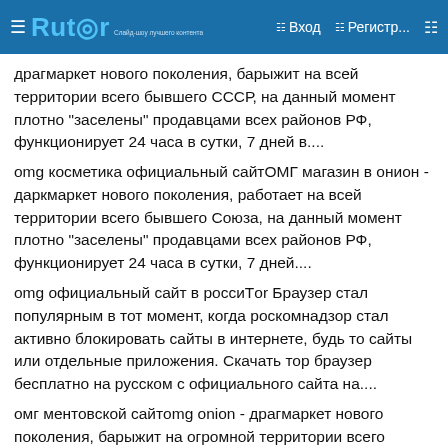Rutor — Вход — Регистр...
драгмаркет нового поколения, барыжит на всей территории всего бывшего СССР, на данный момент плотно "заселены" продавцами всех районов РФ, функционирует 24 часа в сутки, 7 дней в....
omg косметика официальный сайтОМГ магазин в онион - даркмаркет нового поколения, работает на всей территории всего бывшего Союза, на данный момент плотно "заселены" продавцами всех районов РФ, функционирует 24 часа в сутки, 7 дней....
omg официальный сайт в россиТor Браузер стал популярным в тот момент, когда роскомнадзор стал активно блокировать сайты в интернете, будь то сайты или отдельные приложения. Скачать тор браузер бесплатно на русском с официального сайта на....
омг ментовской сайтomg onion - драгмаркет нового поколения, барыжит на огромной территории всего бывшего Союза, на данный момент плотно "заселены" продавцами всех районов РФ, функционирует 24 часа в сутки, 7 дней в неделю,....